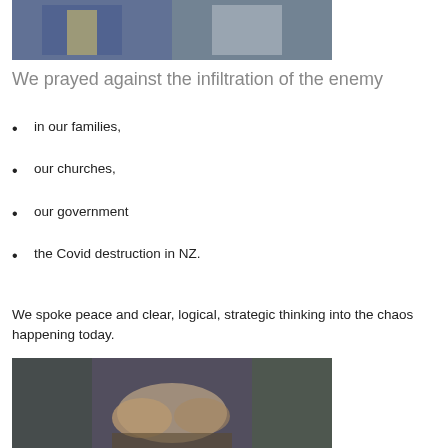[Figure (photo): Two people standing outdoors, one wearing a blue plaid shirt and one in a light jacket]
We prayed against the infiltration of the enemy
in our families,
our churches,
our government
the Covid destruction in NZ.
We spoke peace and clear, logical, strategic thinking into the chaos happening today.
[Figure (photo): Person with hands clasped together in a prayer pose outdoors]